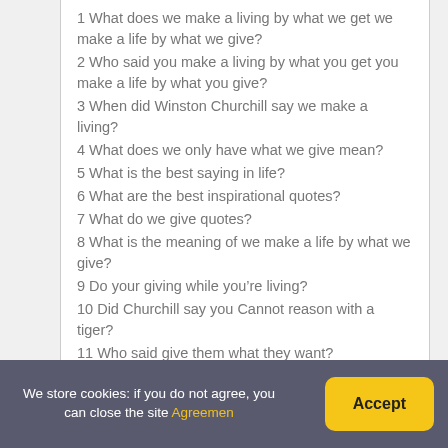1 What does we make a living by what we get we make a life by what we give?
2 Who said you make a living by what you get you make a life by what you give?
3 When did Winston Churchill say we make a living?
4 What does we only have what we give mean?
5 What is the best saying in life?
6 What are the best inspirational quotes?
7 What do we give quotes?
8 What is the meaning of we make a life by what we give?
9 Do your giving while you’re living?
10 Did Churchill say you Cannot reason with a tiger?
11 Who said give them what they want?
12 Who said jaw jaw is better than war war?
13 Is it true that you get what you give?
We store cookies: if you do not agree, you can close the site Agreemen
Accept